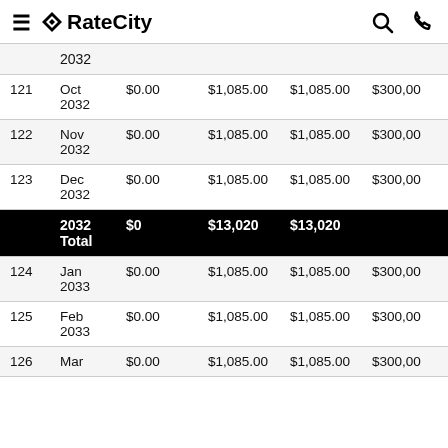RateCity
| # | Date | Principal | Interest | Total Payment | Balance |
| --- | --- | --- | --- | --- | --- |
|  | 2032 |  |  |  |  |
| 121 | Oct 2032 | $0.00 | $1,085.00 | $1,085.00 | $300,00... |
| 122 | Nov 2032 | $0.00 | $1,085.00 | $1,085.00 | $300,00... |
| 123 | Dec 2032 | $0.00 | $1,085.00 | $1,085.00 | $300,00... |
|  | 2032 Total | $0 | $13,020 | $13,020 |  |
| 124 | Jan 2033 | $0.00 | $1,085.00 | $1,085.00 | $300,00... |
| 125 | Feb 2033 | $0.00 | $1,085.00 | $1,085.00 | $300,00... |
| 126 | Mar | $0.00 | $1,085.00 | $1,085.00 | $300,00... |